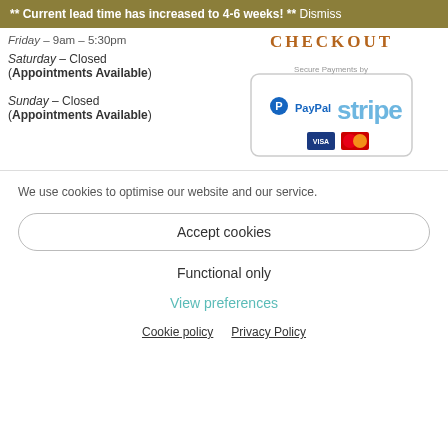** Current lead time has increased to 4-6 weeks! ** Dismiss
Friday – 9am – 5:30pm
CHECKOUT
Saturday – Closed
(Appointments Available)
[Figure (logo): Secure Payments by PayPal and Stripe badge with credit card icons]
Sunday – Closed
(Appointments Available)
We use cookies to optimise our website and our service.
Accept cookies
Functional only
View preferences
Cookie policy   Privacy Policy